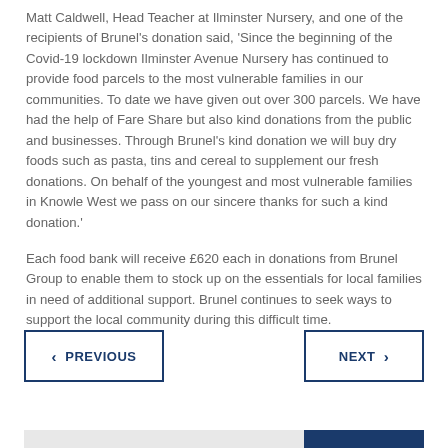Matt Caldwell, Head Teacher at Ilminster Nursery, and one of the recipients of Brunel's donation said, 'Since the beginning of the Covid-19 lockdown Ilminster Avenue Nursery has continued to provide food parcels to the most vulnerable families in our communities. To date we have given out over 300 parcels. We have had the help of Fare Share but also kind donations from the public and businesses. Through Brunel's kind donation we will buy dry foods such as pasta, tins and cereal to supplement our fresh donations. On behalf of the youngest and most vulnerable families in Knowle West we pass on our sincere thanks for such a kind donation.'
Each food bank will receive £620 each in donations from Brunel Group to enable them to stock up on the essentials for local families in need of additional support. Brunel continues to seek ways to support the local community during this difficult time.